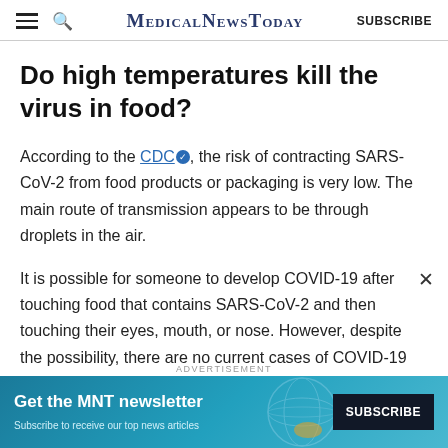MedicalNewsToday  SUBSCRIBE
Do high temperatures kill the virus in food?
According to the CDC, the risk of contracting SARS-CoV-2 from food products or packaging is very low. The main route of transmission appears to be through droplets in the air.
It is possible for someone to develop COVID-19 after touching food that contains SARS-CoV-2 and then touching their eyes, mouth, or nose. However, despite the possibility, there are no current cases of COVID-19
[Figure (screenshot): Advertisement banner for MNT newsletter: 'Get the MNT newsletter — Subscribe to receive our top news articles' with a SUBSCRIBE button on dark background, over a teal/globe background.]